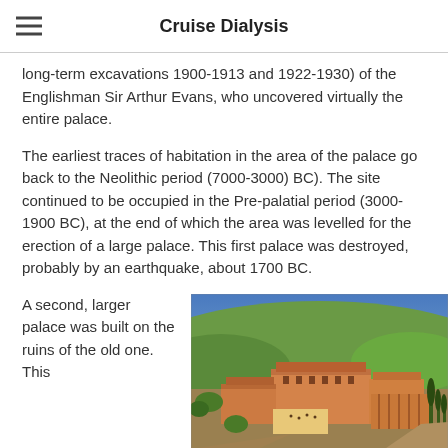Cruise Dialysis
long-term excavations 1900-1913 and 1922-1930) of the Englishman Sir Arthur Evans, who uncovered virtually the entire palace.
The earliest traces of habitation in the area of the palace go back to the Neolithic period (7000-3000) BC). The site continued to be occupied in the Pre-palatial period (3000-1900 BC), at the end of which the area was levelled for the erection of a large palace. This first palace was destroyed, probably by an earthquake, about 1700 BC.
A second, larger palace was built on the ruins of the old one. This
[Figure (photo): Aerial illustration/reconstruction painting of the Palace of Knossos showing terracotta-colored structures, courtyards with people, surrounded by green hills and cypress trees under a blue sky.]